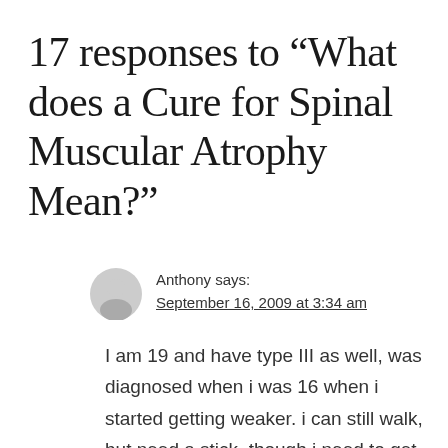17 responses to “What does a Cure for Spinal Muscular Atrophy Mean?”
Anthony says:
September 16, 2009 at 3:34 am
I am 19 and have type III as well, was diagnosed when i was 16 when i started getting weaker. i can still walk, but need a stick, though i need to get lifted out of anything lower then a stool. I have heard